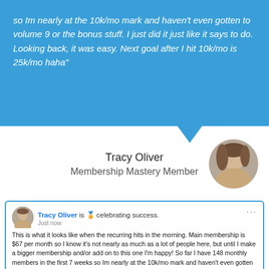so Im nearly at the 10k/mo mark and haven't even gotten to volume 9 or the bonus stuff. I just did it just like it says to do. Looking back, it was easy. Next goal after I hit 10k/mo is 25k/mo haha"
Tracy Oliver
Membership Mastery Member
[Figure (photo): Circular headshot photo of Tracy Oliver, a woman with brown hair]
Tracy Oliver is 🏅 celebrating success.
Just now

This is what it looks like when the recurring hits in the morning. Main membership is $67 per month so I know it's not nearly as much as a lot of people here, but until I make a bigger membership and/or add on to this one I'm happy! So far I have 148 monthly members in the first 7 weeks so Im nearly at the 10k/mo mark and haven't even gotten to volume 9 or the bonus stuff. I just did it just like it says to do. Looking back, it was easy.

Next goal after I hit 10k/mo is 25k/mo haha WISH ME LUCKKKKKKKKKK
|  |  | Status | Amount | Fee | Net |
| --- | --- | --- | --- | --- | --- |
| Payment from | [redacted] | Completed | $67.00 USD | -$3.25 | $63.75 |
| Payment from | [redacted] | Completed | $67.00 USD | -$2.24 | $64.76 |